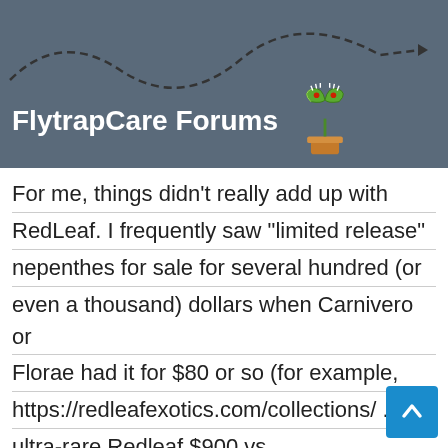FlytrapCare Forums
For me, things didn't really add up with RedLeaf. I frequently saw "limited release" nepenthes for sale for several hundred (or even a thousand) dollars when Carnivero or Florae had it for $80 or so (for example, https://redleafexotics.com/collections/ ... ultra-rare Redleaf $900 vs https://www.carnivero.com/products/nepe ... 7141533739 Carnivero $249, or https://redleafexotics.com/collections/ ... truncata-2 Redleaf $1,000 vs https://www.carnivero.com/products/nepe 3199513643 Carnivero $175, of course no tw plants are the same but 4 or 5 times the price